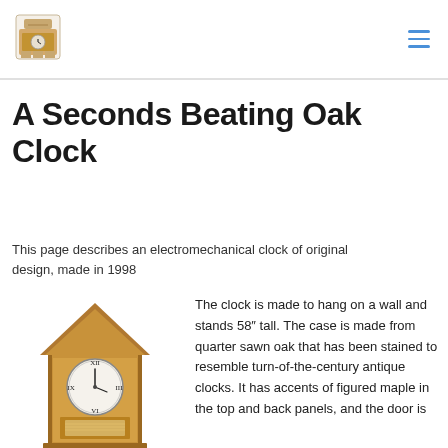[Figure (logo): Small clock mechanism logo image in the top left header]
hamburger menu icon top right
A Seconds Beating Oak Clock
This page describes an electromechanical clock of original design, made in 1998
[Figure (photo): Tall oak grandfather-style wall clock with Roman numeral face and figured maple accents]
The clock is made to hang on a wall and stands 58″ tall. The case is made from quarter sawn oak that has been stained to resemble turn-of-the-century antique clocks. It has accents of figured maple in the top and back panels, and the door is